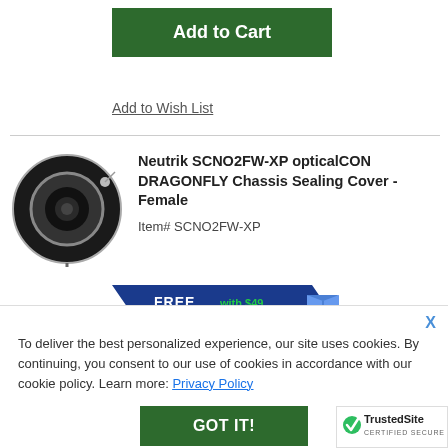Add to Cart
Add to Wish List
Neutrik SCNO2FW-XP opticalCON DRAGONFLY Chassis Sealing Cover - Female
Item# SCNO2FW-XP
[Figure (infographic): FREE SHIP with $49 Min Order banner — blue chevron ribbon with package icon]
[Figure (photo): Photo of Neutrik SCNO2FW-XP optical connector chassis sealing cover - female, black circular connector with metal ring and cable]
To deliver the best personalized experience, our site uses cookies. By continuing, you consent to our use of cookies in accordance with our cookie policy. Learn more: Privacy Policy
GOT IT!
[Figure (logo): TrustedSite CERTIFIED SECURE badge with green checkmark]